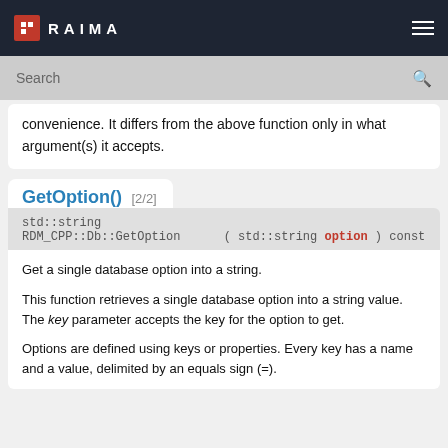RAIMA
convenience. It differs from the above function only in what argument(s) it accepts.
GetOption() [2/2]
std::string
RDM_CPP::Db::GetOption ( std::string option ) const
Get a single database option into a string.
This function retrieves a single database option into a string value. The key parameter accepts the key for the option to get.
Options are defined using keys or properties. Every key has a name and a value, delimited by an equals sign (=).